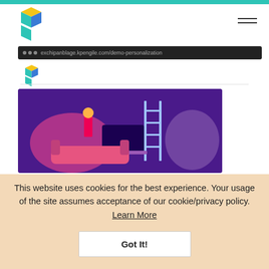[Figure (screenshot): Screenshot of a website with a teal top bar, logo, hamburger menu, browser address bar showing exchipanblage.kpengile.com/demo-personalization, inner logo, divider, purple illustration with a person and ladder, and a yellow form with Name and Email fields]
This website uses cookies for the best experience. Your usage of the site assumes acceptance of our cookie/privacy policy. Learn More
Got It!